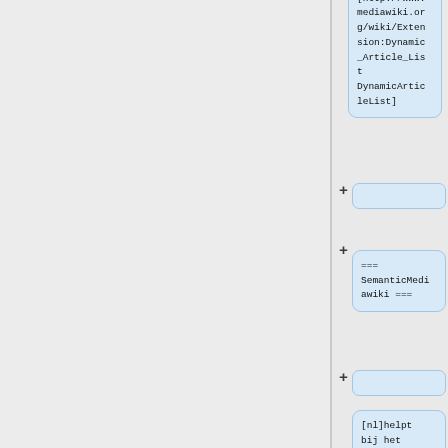link:
[http://www.mediawiki.org/wiki/Extension:Dynamic_Article_List DynamicArticleList]
+
=== SemanticMediawiki ===
+
[nl]helpt bij het zoeken, organiseren, labelen,